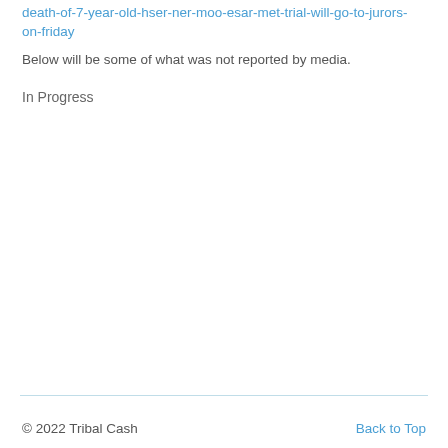death-of-7-year-old-hser-ner-moo-esar-met-trial-will-go-to-jurors-on-friday
Below will be some of what was not reported by media.
In Progress
© 2022 Tribal Cash    Back to Top